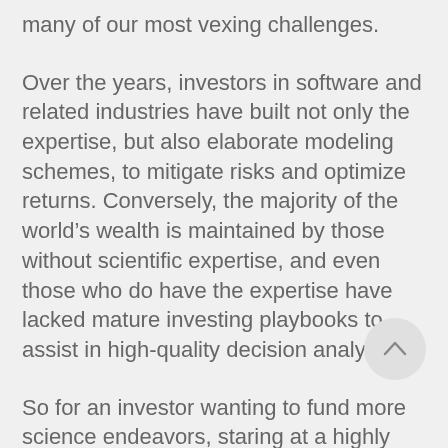many of our most vexing challenges.
Over the years, investors in software and related industries have built not only the expertise, but also elaborate modeling schemes, to mitigate risks and optimize returns. Conversely, the majority of the world's wealth is maintained by those without scientific expertise, and even those who do have the expertise have lacked mature investing playbooks to assist in high-quality decision analysis.
So for an investor wanting to fund more science endeavors, staring at a highly technical proposal for some promising-looking company can feel like trying to summit a daunting mountain while more accessible ascents are all around you. As an investor without a science